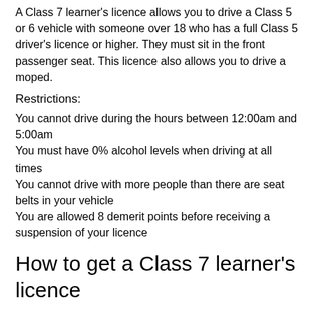A Class 7 learner's licence allows you to drive a Class 5 or 6 vehicle with someone over 18 who has a full Class 5 driver's licence or higher. They must sit in the front passenger seat. This licence also allows you to drive a moped.
Restrictions:
You cannot drive during the hours between 12:00am and 5:00am
You must have 0% alcohol levels when driving at all times
You cannot drive with more people than there are seat belts in your vehicle
You are allowed 8 demerit points before receiving a suspension of your licence
How to get a Class 7 learner's licence